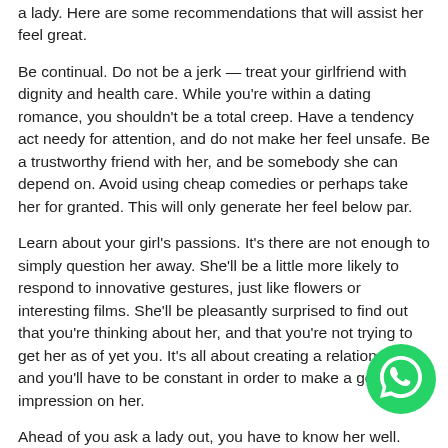a lady. Here are some recommendations that will assist her feel great.
Be continual. Do not be a jerk — treat your girlfriend with dignity and health care. While you're within a dating romance, you shouldn't be a total creep. Have a tendency act needy for attention, and do not make her feel unsafe. Be a trustworthy friend with her, and be somebody she can depend on. Avoid using cheap comedies or perhaps take her for granted. This will only generate her feel below par.
Learn about your girl's passions. It's there are not enough to simply question her away. She'll be a little more likely to respond to innovative gestures, just like flowers or interesting films. She'll be pleasantly surprised to find out that you're thinking about her, and that you're not trying to get her as of yet you. It's all about creating a relationship, and you'll have to be constant in order to make a good impression on her.
Ahead of you ask a lady out, you have to know her well. You need to know what she would like, and then ask her out. The